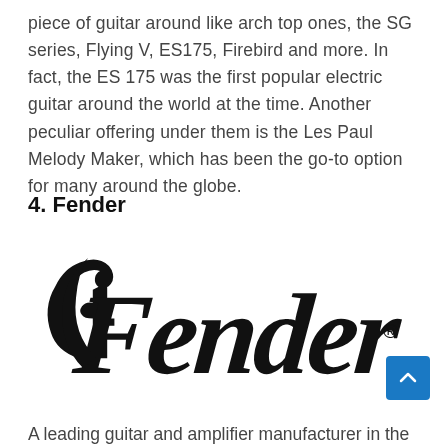piece of guitar around like arch top ones, the SG series, Flying V, ES175, Firebird and more. In fact, the ES 175 was the first popular electric guitar around the world at the time. Another peculiar offering under them is the Les Paul Melody Maker, which has been the go-to option for many around the globe.
4. Fender
[Figure (logo): Fender logo in black cursive script with registered trademark symbol]
A leading guitar and amplifier manufacturer in the